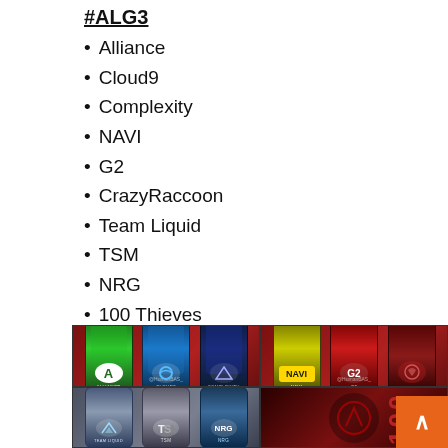#ALG3
Alliance
Cloud9
Complexity
NAVI
G2
CrazyRaccoon
Team Liquid
TSM
NRG
100 Thieves
[Figure (photo): Collage of team player cards for esports teams: Alliance (green), Cloud9 (blue), Complexity (dark blue), NAVI (yellow), G2 (red), CrazyRaccoon (dark red) in top row; Team Liquid (silver), TSM (white/silver), NRG (light blue) in bottom left; 100 Thieves partial image in bottom right. Orange scroll-to-top button visible bottom right corner.]